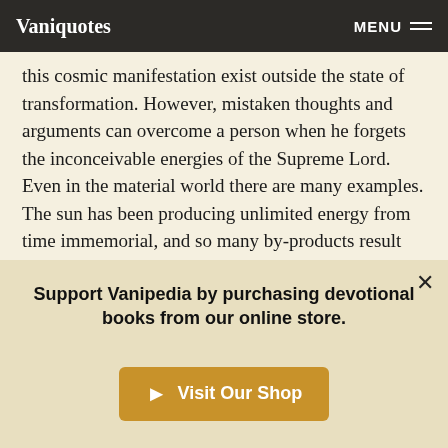Vaniquotes | MENU
this cosmic manifestation exist outside the state of transformation. However, mistaken thoughts and arguments can overcome a person when he forgets the inconceivable energies of the Supreme Lord. Even in the material world there are many examples. The sun has been producing unlimited energy from time immemorial, and so many by-products result from the sun; yet there is no change in the heat and temperature of the sun itself. Despite its being a material product, if the sun can maintain its original temperature and yet produce so many byproducts, is it difficult for the Supreme Absolute Truth to remain unchanged in spite of producing so many by-products by
Support Vanipedia by purchasing devotional books from our online store.
Visit Our Shop